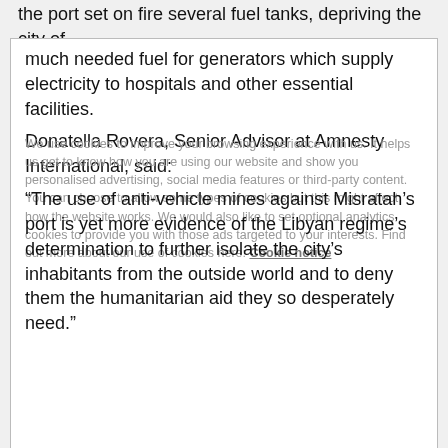the port set on fire several fuel tanks, depriving the city of
much needed fuel for generators which supply electricity to hospitals and other essential facilities.
Donatella Rovera, Senior Advisor at Amnesty International, said:
“The use of anti-vehicle mines against Misratah’s port is yet more evidence of the Libyan regime’s determination to further isolate the city’s inhabitants from the outside world and to deny them the humanitarian aid they so desperately need.”
According to information corroborated by Amnesty International, the mines are delivered by Chinese-made 122mm rockets, which burst open in flight, each scattering eight (Type 84 Model A) anti-vehicle mines over a large area.  Each mine is equipped with a parachute to activate the mine’s arming system and to regulate its descent to the ground. The parachute, which becomes a source of attraction for